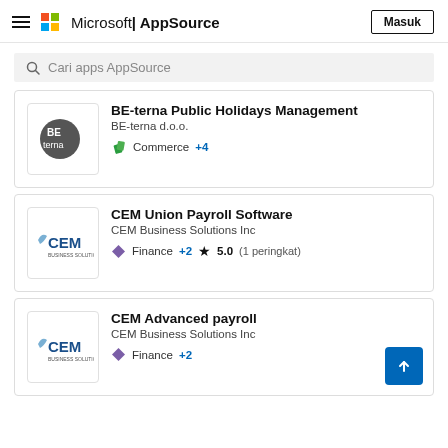Microsoft | AppSource — Masuk
Cari apps AppSource
BE-terna Public Holidays Management
BE-terna d.o.o.
Commerce +4
CEM Union Payroll Software
CEM Business Solutions Inc
Finance +2  ★ 5.0 (1 peringkat)
CEM Advanced payroll
CEM Business Solutions Inc
Finance +2